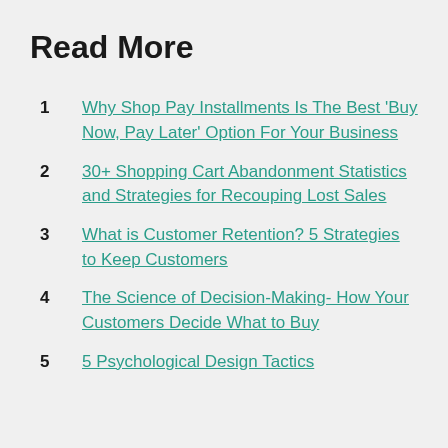Read More
Why Shop Pay Installments Is The Best ‘Buy Now, Pay Later’ Option For Your Business
30+ Shopping Cart Abandonment Statistics and Strategies for Recouping Lost Sales
What is Customer Retention? 5 Strategies to Keep Customers
The Science of Decision-Making- How Your Customers Decide What to Buy
5 Psychological Design Tactics